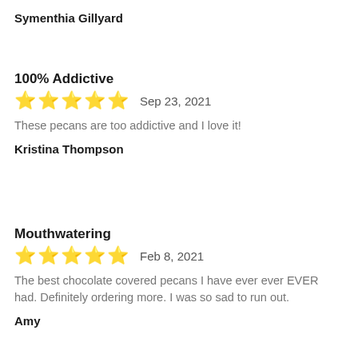Symenthia Gillyard
100% Addictive
★★★★★  Sep 23, 2021
These pecans are too addictive and I love it!
Kristina Thompson
Mouthwatering
★★★★★  Feb 8, 2021
The best chocolate covered pecans I have ever ever EVER had. Definitely ordering more. I was so sad to run out.
Amy